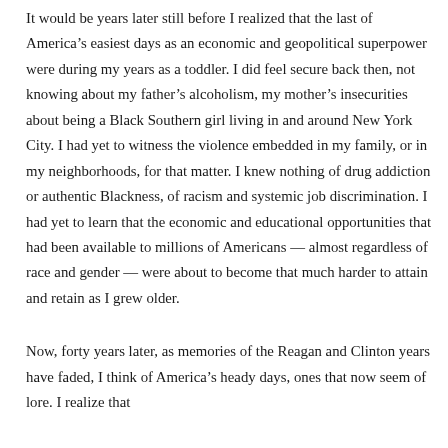It would be years later still before I realized that the last of America's easiest days as an economic and geopolitical superpower were during my years as a toddler. I did feel secure back then, not knowing about my father's alcoholism, my mother's insecurities about being a Black Southern girl living in and around New York City. I had yet to witness the violence embedded in my family, or in my neighborhoods, for that matter. I knew nothing of drug addiction or authentic Blackness, of racism and systemic job discrimination. I had yet to learn that the economic and educational opportunities that had been available to millions of Americans — almost regardless of race and gender — were about to become that much harder to attain and retain as I grew older.
Now, forty years later, as memories of the Reagan and Clinton years have faded, I think of America's heady days, ones that now seem of lore. I realize that